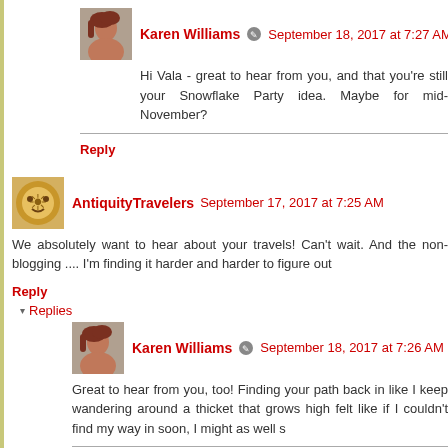[Figure (photo): Avatar photo of Karen Williams - woman with reddish-brown hair]
Karen Williams  September 18, 2017 at 7:27 AM
Hi Vala - great to hear from you, and that you're still your Snowflake Party idea. Maybe for mid-November?
Reply
[Figure (photo): Avatar photo of AntiquityTravelers - decorative sun/face icon]
AntiquityTravelers  September 17, 2017 at 7:25 AM
We absolutely want to hear about your travels! Can't wait. And the non-blogging .... I'm finding it harder and harder to figure out
Reply
Replies
[Figure (photo): Avatar photo of Karen Williams - woman with reddish-brown hair]
Karen Williams  September 18, 2017 at 7:26 AM
Great to hear from you, too! Finding your path back in like I keep wandering around a thicket that grows high felt like if I couldn't find my way in soon, I might as well s
Reply